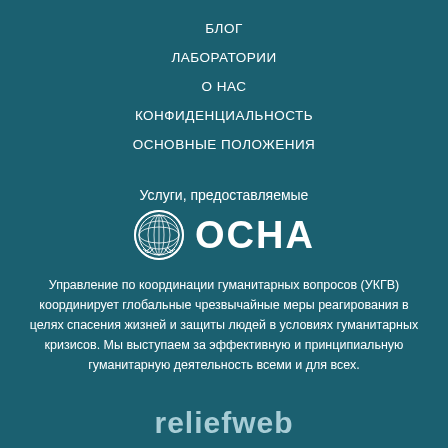БЛОГ
ЛАБОРАТОРИИ
О НАС
КОНФИДЕНЦИАЛЬНОСТЬ
ОСНОВНЫЕ ПОЛОЖЕНИЯ
Услуги, предоставляемые
[Figure (logo): OCHA logo with UN emblem and text ОСНА]
Управление по координации гуманитарных вопросов (УКГВ) координирует глобальные чрезвычайные меры реагирования в целях спасения жизней и защиты людей в условиях гуманитарных кризисов. Мы выступаем за эффективную и принципиальную гуманитарную деятельность всеми и для всех.
[Figure (logo): reliefweb logo partial at bottom]